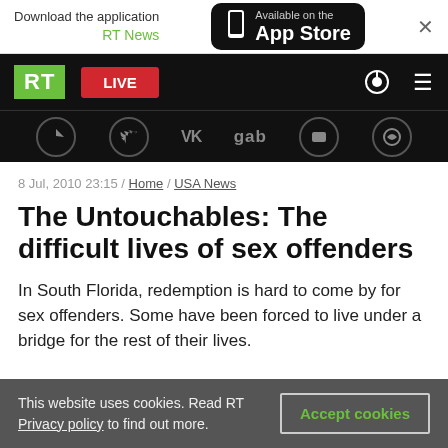[Figure (screenshot): App Store download banner for RT News app]
[Figure (screenshot): RT navigation bar with logo, LIVE button, search and menu icons]
[Figure (screenshot): Social media icons bar: Telegram, Twitter, VK, gab, Rumble, and another icon]
8 Jul, 2010 23:15 / Home / USA News
The Untouchables: The difficult lives of sex offenders
In South Florida, redemption is hard to come by for sex offenders. Some have been forced to live under a bridge for the rest of their lives.
This website uses cookies. Read RT Privacy policy to find out more.